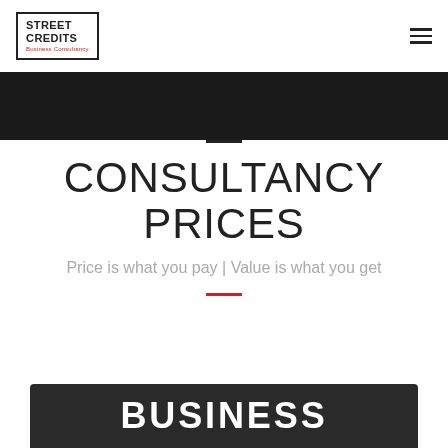[Figure (logo): Street Credits Business Consultancy logo — bold black text in a bordered box with red subtitle]
[Figure (other): Hamburger menu icon — three horizontal lines]
CONSULTANCY PRICES
Price is what you pay | Value is what you get
BUSINESS